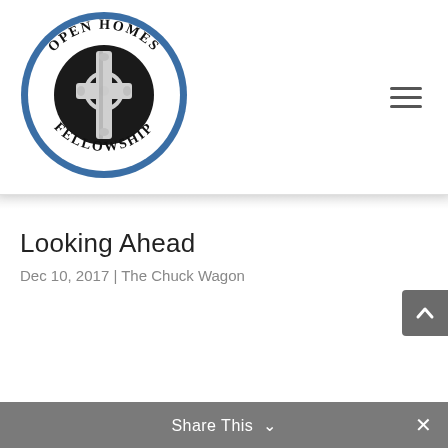[Figure (logo): Open Homes Fellowship circular logo with a Celtic cross in the center, 'OPEN HOMES' text arched on top and 'FELLOWSHIP' text arched on bottom, blue border ring]
Looking Ahead
Dec 10, 2017 | The Chuck Wagon
Share This ∨  ✕